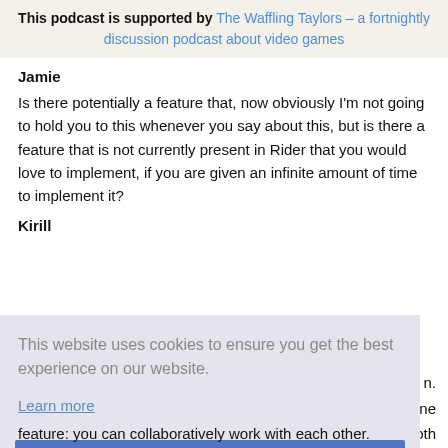This podcast is supported by The Waffling Taylors – a fortnightly discussion podcast about video games
Jamie
Is there potentially a feature that, now obviously I'm not going to hold you to this whenever you say about this, but is there a feature that is not currently present in Rider that you would love to implement, if you are given an infinite amount of time to implement it?
Kirill
[Figure (screenshot): Cookie consent overlay with message 'This website uses cookies to ensure you get the best experience on our website.' and a Learn more link and an OK button]
feature: you can collaboratively work with each other.